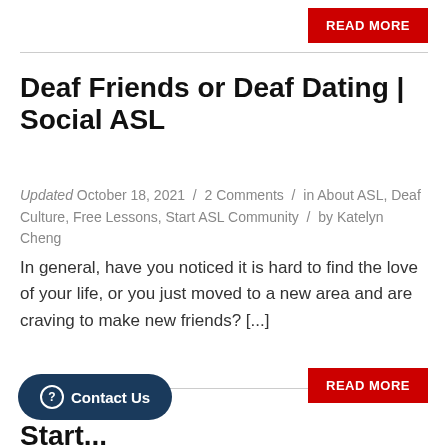READ MORE
Deaf Friends or Deaf Dating | Social ASL
Updated October 18, 2021 / 2 Comments / in About ASL, Deaf Culture, Free Lessons, Start ASL Community / by Katelyn Cheng
In general, have you noticed it is hard to find the love of your life, or you just moved to a new area and are craving to make new friends? [...]
READ MORE
Contact Us
Start...